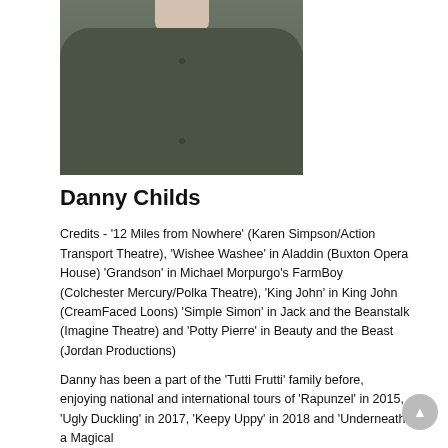[Figure (photo): Headshot of Danny Childs wearing a dark grey polo shirt, cropped to show neck and upper torso area]
Danny Childs
Credits - '12 Miles from Nowhere' (Karen Simpson/Action Transport Theatre), 'Wishee Washee' in Aladdin (Buxton Opera House) 'Grandson' in Michael Morpurgo's FarmBoy (Colchester Mercury/Polka Theatre), 'King John' in King John (CreamFaced Loons) 'Simple Simon' in Jack and the Beanstalk (Imagine Theatre) and 'Potty Pierre' in Beauty and the Beast (Jordan Productions)
Danny has been a part of the 'Tutti Frutti' family before, enjoying national and international tours of 'Rapunzel' in 2015, 'Ugly Duckling' in 2017, 'Keepy Uppy' in 2018 and 'Underneath a Magical